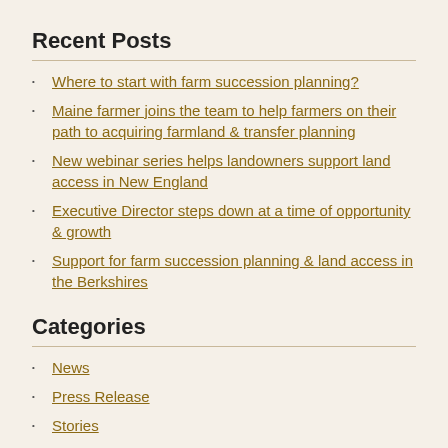Recent Posts
Where to start with farm succession planning?
Maine farmer joins the team to help farmers on their path to acquiring farmland & transfer planning
New webinar series helps landowners support land access in New England
Executive Director steps down at a time of opportunity & growth
Support for farm succession planning & land access in the Berkshires
Categories
News
Press Release
Stories
Resources
Land Access Project
Research
Policy